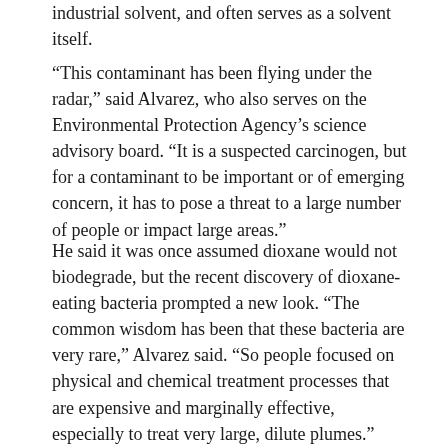industrial solvent, and often serves as a solvent itself.
“This contaminant has been flying under the radar,” said Alvarez, who also serves on the Environmental Protection Agency’s science advisory board. “It is a suspected carcinogen, but for a contaminant to be important or of emerging concern, it has to pose a threat to a large number of people or impact large areas.”
He said it was once assumed dioxane would not biodegrade, but the recent discovery of dioxane-eating bacteria prompted a new look. “The common wisdom has been that these bacteria are very rare,” Alvarez said. “So people focused on physical and chemical treatment processes that are expensive and marginally effective, especially to treat very large, dilute plumes.”